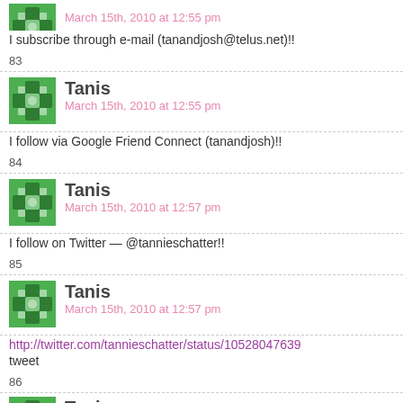[Figure (illustration): Green decorative avatar icon (partial, top cut off)]
March 15th, 2010 at 12:55 pm
I subscribe through e-mail (tanandjosh@telus.net)!!
83
[Figure (illustration): Green decorative avatar icon for Tanis]
Tanis
March 15th, 2010 at 12:55 pm
I follow via Google Friend Connect (tanandjosh)!!
84
[Figure (illustration): Green decorative avatar icon for Tanis]
Tanis
March 15th, 2010 at 12:57 pm
I follow on Twitter — @tannieschatter!!
85
[Figure (illustration): Green decorative avatar icon for Tanis]
Tanis
March 15th, 2010 at 12:57 pm
http://twitter.com/tannieschatter/status/10528047639
tweet
86
[Figure (illustration): Green decorative avatar icon for Tanis (partial, bottom cut off)]
Tanis